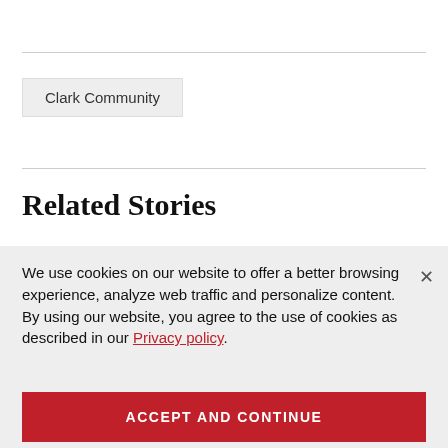Clark Community
Related Stories
We use cookies on our website to offer a better browsing experience, analyze web traffic and personalize content. By using our website, you agree to the use of cookies as described in our Privacy policy.
ACCEPT AND CONTINUE